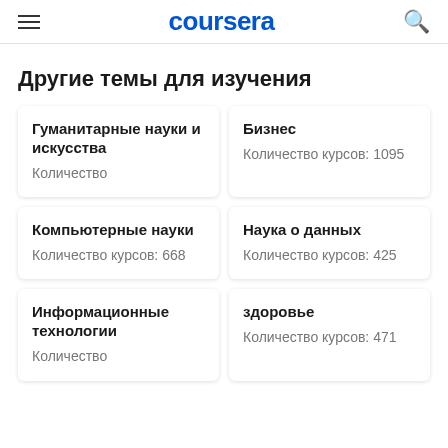coursera
Другие темы для изучения
Гуманитарные науки и искусства
Количество
Бизнес
Количество курсов: 1095
Компьютерные науки
Количество курсов: 668
Наука о данных
Количество курсов: 425
Информационные технологии
Количество
здоровье
Количество курсов: 471